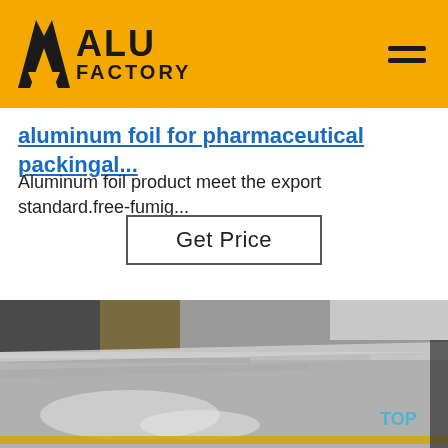[Figure (logo): ALU FACTORY logo with yellow background and hamburger menu icon]
aluminum foil for pharmaceutical packingal...
Aluminum foil product meet the export standard.free-fumig...
Get Price
[Figure (photo): Stack of shiny aluminum sheets in a warehouse/factory setting, with a 'TOP' watermark badge in the lower right corner]